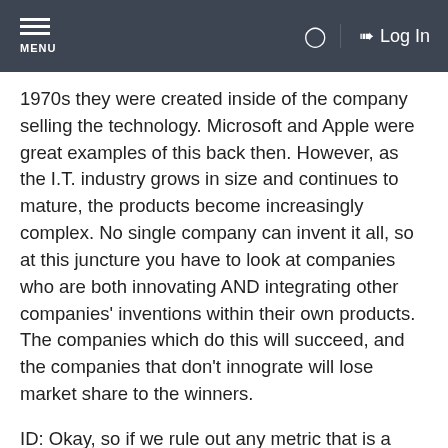MENU | ? | Log In
1970s they were created inside of the company selling the technology. Microsoft and Apple were great examples of this back then. However, as the I.T. industry grows in size and continues to mature, the products become increasingly complex. No single company can invent it all, so at this juncture you have to look at companies who are both innovating AND integrating other companies' inventions within their own products. The companies which do this will succeed, and the companies that don't innograte will lose market share to the winners.
ID: Okay, so if we rule out any metric that is a ratio based on things such as book value, inventory, etc., that pretty much only leaves